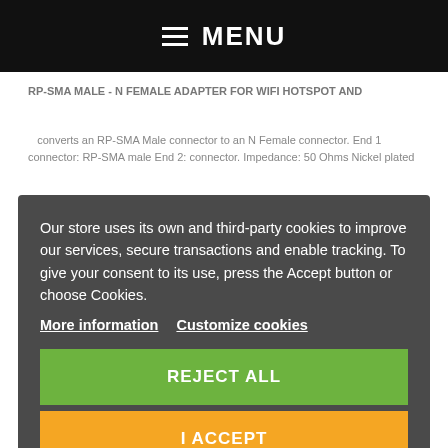≡ MENU
RP-SMA MALE - N FEMALE ADAPTER FOR WIFI HOTSPOT AND
converts an RP-SMA Male connector to an N Female connector. End 1 connector: RP-SMA male End 2: connector. Impedance: 50 Ohms Nickel plated
Our store uses its own and third-party cookies to improve our services, secure transactions and enable tracking. To give your consent to its use, press the Accept button or choose Cookies.
More information
Customize cookies
REJECT ALL
I ACCEPT
[Figure (photo): Chrome/silver RF connector adapter, appearing to be an N-type or SMA connector, metallic with knurled ring and gold pin visible]